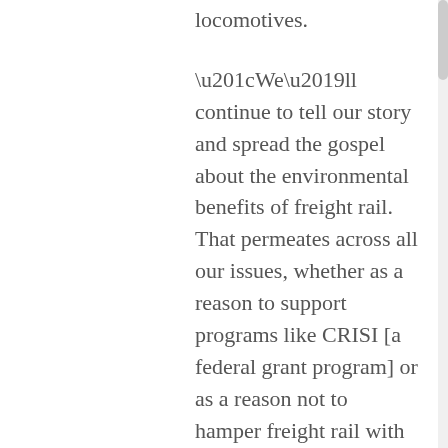locomotives.
“We’ll continue to tell our story and spread the gospel about the environmental benefits of freight rail. That permeates across all our issues, whether as a reason to support programs like CRISI [a federal grant program] or as a reason not to hamper freight rail with unnecessary regulations,” Baker said.
The industry will also be watching how public-private partnerships and publicly funded projects benefit freight rail. For example, just this week Alabama announced plans to build out a freight corridor to the Port of Mobile that will also receive